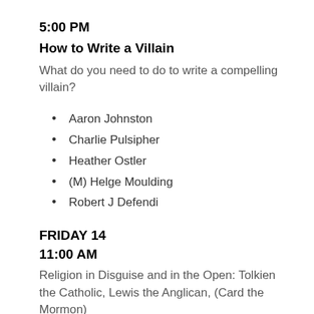5:00 PM
How to Write a Villain
What do you need to do to write a compelling villain?
Aaron Johnston
Charlie Pulsipher
Heather Ostler
(M) Helge Moulding
Robert J Defendi
FRIDAY 14
11:00 AM
Religion in Disguise and in the Open: Tolkien the Catholic, Lewis the Anglican, (Card the Mormon)